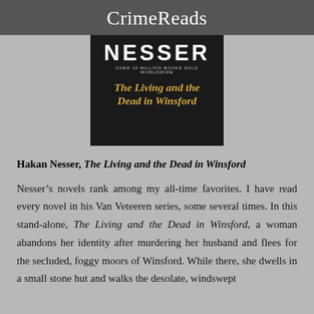CrimeReads
[Figure (photo): Book cover of 'The Living and the Dead in Winsford' by Nesser, showing the author's name in large bold white letters, tagline 'OVER 10 MILLION BOOKS SOLD WORLDWIDE', and the book title in gold italic text on a dark background.]
Hakan Nesser, The Living and the Dead in Winsford
Nesser’s novels rank among my all-time favorites. I have read every novel in his Van Veteeren series, some several times. In this stand-alone, The Living and the Dead in Winsford, a woman abandons her identity after murdering her husband and flees for the secluded, foggy moors of Winsford. While there, she dwells in a small stone hut and walks the desolate, windswept